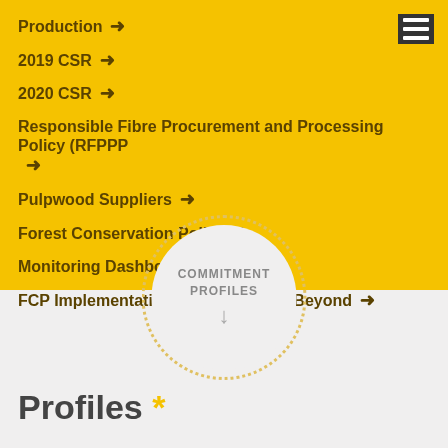Production →
2019 CSR →
2020 CSR →
Responsible Fibre Procurement and Processing Policy (RFPPP →
Pulpwood Suppliers →
Forest Conservation Policy →
Monitoring Dashboard →
FCP Implementation Plan: 2015 and Beyond →
[Figure (infographic): Circle with dotted border containing text COMMITMENT PROFILES with a downward arrow]
Profiles *